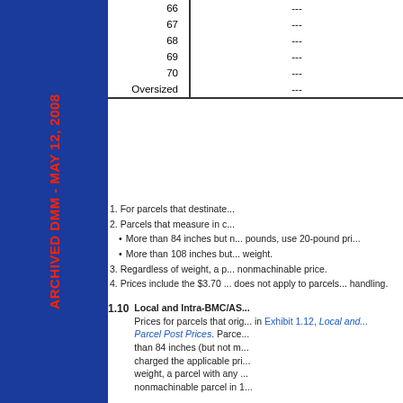[Figure (other): Blue sidebar with red rotated text reading ARCHIVED DMM - MAY 12, 2008]
|  | --- |
| --- | --- |
| 66 | --- |
| 67 | --- |
| 68 | --- |
| 69 | --- |
| 70 | --- |
| Oversized | --- |
1. For parcels that destinate...
2. Parcels that measure in c...
More than 84 inches but n... pounds, use 20-pound pri...
More than 108 inches but... weight.
3. Regardless of weight, a p... nonmachinable price.
4. Prices include the $3.70 ... does not apply to parcels... handling.
1.10  Local and Intra-BMC/AS...
Prices for parcels that orig... in Exhibit 1.12, Local and ... Parcel Post Prices. Parce... than 84 inches (but not m... charged the applicable pri... weight, a parcel with any ... nonmachinable parcel in 1...